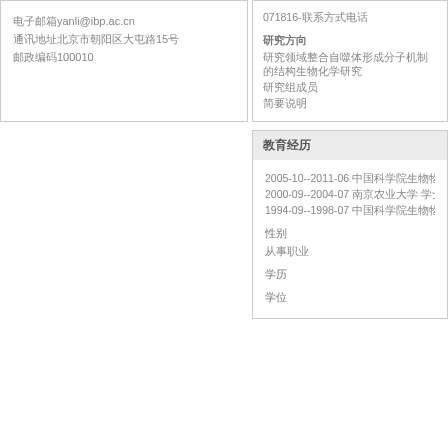电子邮箱yanli@ibp.ac.cn
通讯地址北京市朝阳区大屯路15号
邮政编码100010
071816-联系方式电话

研究方向

研究领域整合自噬体形成分子机制的结构生物化学研究
研究组成员
简要说明
教育经历
2005-10--2011-06 中国科学院生物物理研究所 博士
2000-09--2004-07 南京农业大学 学士
1994-09--1998-07 中国科学院生物物理研究所 博
性别
从事职业
学历
学位